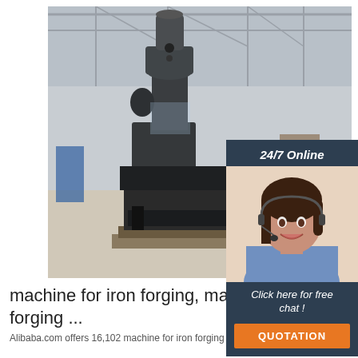[Figure (photo): Industrial forging machine (power hammer) in a factory warehouse, shown on a wooden pallet. Large dark metal machine with cylindrical top component. Background shows a large industrial warehouse with steel roof structure.]
[Figure (photo): 24/7 Online support card with a smiling woman wearing a headset microphone. Dark blue/navy background. Text: '24/7 Online', 'Click here for free chat!', and an orange 'QUOTATION' button.]
machine for iron forging, machine for iron forging ...
[Figure (logo): Orange circular logo with dots arranged in a circle and 'TOP' text in white on orange background]
Alibaba.com offers 16,102 machine for iron forging